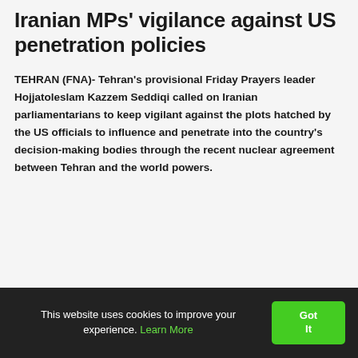Iranian MPs' vigilance against US penetration policies
TEHRAN (FNA)- Tehran's provisional Friday Prayers leader Hojjatoleslam Kazzem Seddiqi called on Iranian parliamentarians to keep vigilant against the plots hatched by the US officials to influence and penetrate into the country's decision-making bodies through the recent nuclear agreement between Tehran and the world powers.
This website uses cookies to improve your experience. Learn More  Got It